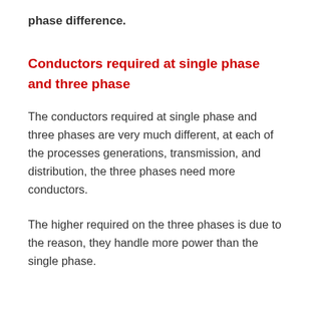phase difference.
Conductors required at single phase and three phase
The conductors required at single phase and three phases are very much different, at each of the processes generations, transmission, and distribution, the three phases need more conductors.
The higher required on the three phases is due to the reason, they handle more power than the single phase.